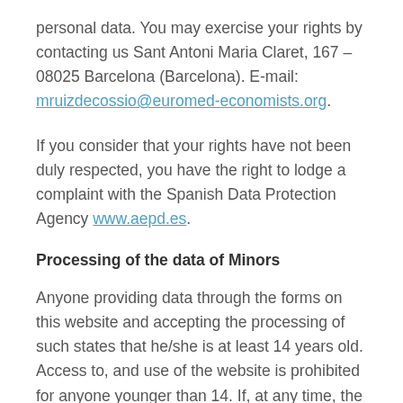personal data. You may exercise your rights by contacting us Sant Antoni Maria Claret, 167 – 08025 Barcelona (Barcelona). E-mail: mruizdecossio@euromed-economists.org.
If you consider that your rights have not been duly respected, you have the right to lodge a complaint with the Spanish Data Protection Agency www.aepd.es.
Processing of the data of Minors
Anyone providing data through the forms on this website and accepting the processing of such states that he/she is at least 14 years old. Access to, and use of the website is prohibited for anyone younger than 14. If, at any time, the Data Controller